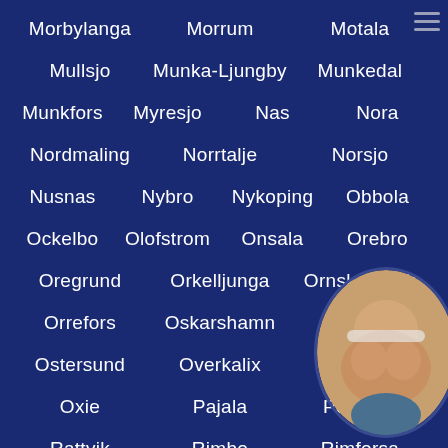Morbylanga
Morrum
Motala
Mullsjo
Munka-Ljungby
Munkedal
Munkfors
Myresjo
Nas
Nora
Nordmaling
Norrtalje
Norsjo
Nusnas
Nybro
Nykoping
Obbola
Ockelbo
Olofstrom
Onsala
Orebro
Oregrund
Orkelljunga
Ornskoldsvik
Orrefors
Oskarshamn
Osmo
Ostersund
Overkalix
Ox
Oxie
Pajala
Perstorp
Rattvik
Rimbo
Rimforsa
[Figure (photo): Circular cropped photo of a woman in bottom-right corner]